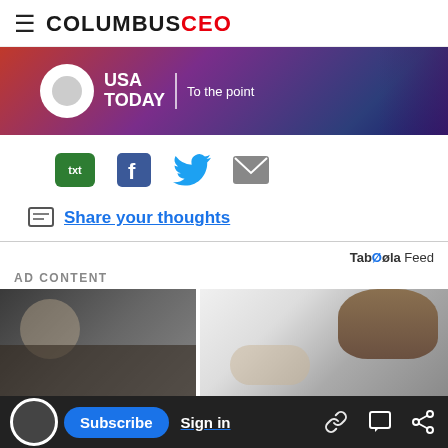≡ COLUMBUS CEO
[Figure (photo): USA TODAY 'To the point' advertisement banner with circular white logo on gradient red-purple background]
[Figure (infographic): Social sharing icons row: txt (green), Facebook (blue), Twitter (blue bird), email (grey envelope)]
Share your thoughts
Tab00la Feed
AD CONTENT
[Figure (photo): Two side-by-side ad content photos: left shows a person looking in a mirror, right shows a cat on a person's head]
Subscribe  Sign in